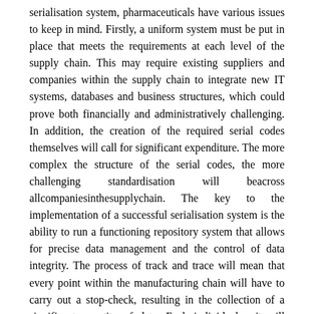serialisation system, pharmaceuticals have various issues to keep in mind. Firstly, a uniform system must be put in place that meets the requirements at each level of the supply chain. This may require existing suppliers and companies within the supply chain to integrate new IT systems, databases and business structures, which could prove both financially and administratively challenging. In addition, the creation of the required serial codes themselves will call for significant expenditure. The more complex the structure of the serial codes, the more challenging standardisation will beacross allcompaniesinthesupplychain. The key to the implementation of a successful serialisation system is the ability to run a functioning repository system that allows for precise data management and the control of data integrity. The process of track and trace will mean that every point within the manufacturing chain will have to carry out a stop-check, resulting in the collection of a significant quantity of data. Each individual unit will have a unique identifying code and, once printed and supplied to the public, must be decommissioned in the system so any other pack that has the same code cannot be verified. If under unforeseen circumstances a box is accidentally damaged